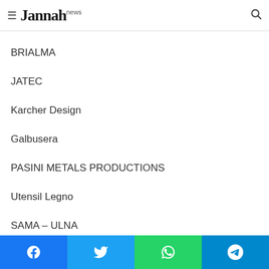Jannah news
the chapter also presents profiles of competitors in the market. Key players include:
BRIALMA
JATEC
Karcher Design
Galbusera
PASINI METALS PRODUCTIONS
Utensil Legno
SAMA – ULNA
Facebook | Twitter | WhatsApp | Telegram